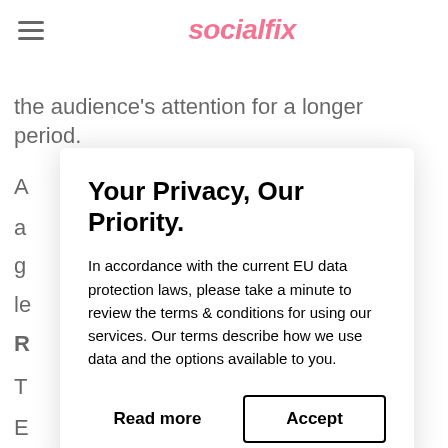socialfix
the audience's attention for a longer period.
A
a
g
le
R
T
E
a
of ads, as you can experiment with all of
Your Privacy, Our Priority.
In accordance with the current EU data protection laws, please take a minute to review the terms & conditions for using our services. Our terms describe how we use data and the options available to you.
Read more
Accept